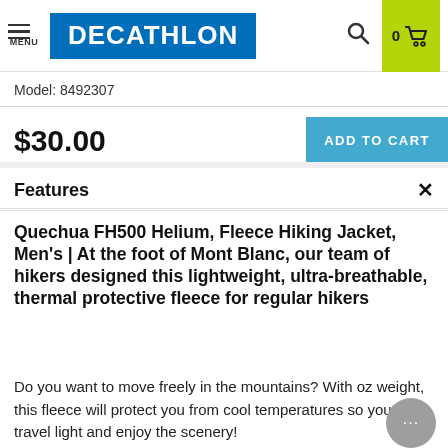[Figure (logo): Decathlon logo with blue background and white bold text, with hamburger menu icon and MENU label on left, search icon and cart with 0 items on right with lime green background]
Model: 8492307
$30.00
ADD TO CART
Features
Quechua FH500 Helium, Fleece Hiking Jacket, Men's | At the foot of Mont Blanc, our team of hikers designed this lightweight, ultra-breathable, thermal protective fleece for regular hikers
Do you want to move freely in the mountains? With oz weight, this fleece will protect you from cool temperatures so you can travel light and enjoy the scenery!